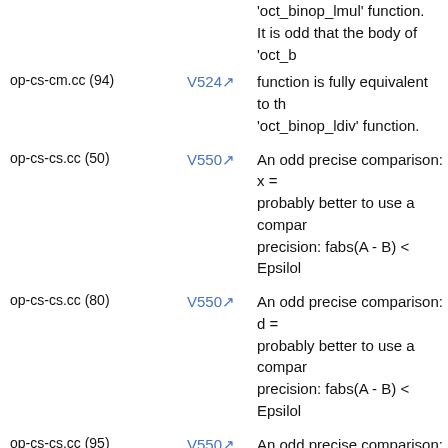| File | Code | Description |
| --- | --- | --- |
| op-cs-cm.cc (94) | V524 | It is odd that the body of 'oct_b function is fully equivalent to th 'oct_binop_ldiv' function. |
| op-cs-cs.cc (50) | V550 | An odd precise comparison: x = probably better to use a compar precision: fabs(A - B) < Epsilon |
| op-cs-cs.cc (80) | V550 | An odd precise comparison: d = probably better to use a compar precision: fabs(A - B) < Epsilon |
| op-cs-cs.cc (95) | V550 | An odd precise comparison: d = probably better to use a compar precision: fabs(A - B) < Epsilon |
| op-cs-cs.cc (117) | V550 | An odd precise comparison: d = probably better to use a compar precision: fabs(A - B) < Epsilon |
| op-cs-cs.cc (132) | V550 | An odd precise comparison: d = probably better to use a compar precision: fabs(A - B) < Epsilon |
| op-cs-cs.cc (143) | V550 | An odd precise comparison: v1.complex_value() != 0.0. It's use a comparison with defined - B) > Epsilon. |
|  | V550 | An odd precise comparison: v2.complex_value() != 0.0. It's |